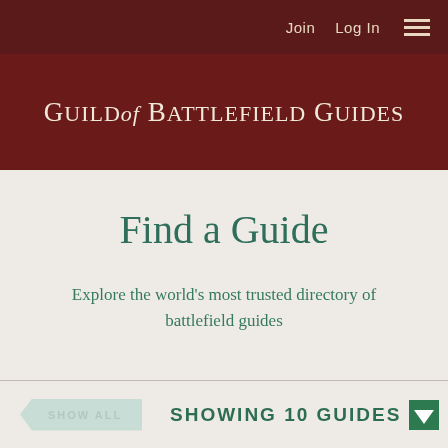Join  Log In  ☰
Guild of Battlefield Guides
Find a Guide
Explore the world's most trusted directory of battlefield guides
SHOW ALL  SHOWING 10 GUIDES ↓